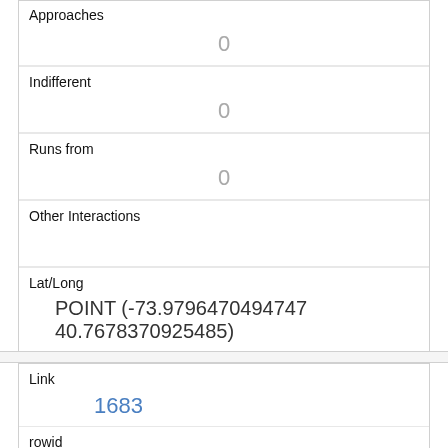| Approaches | 0 |
| Indifferent | 0 |
| Runs from | 0 |
| Other Interactions |  |
| Lat/Long | POINT (-73.9796470494747 40.7678370925485) |
| Link | 1683 |
| rowid | 1683 |
| longitude | -73.9790889008147 |
| latitude | 40.7676402781925 |
| Unique Squirrel ID | 1C-PM-1013-01 |